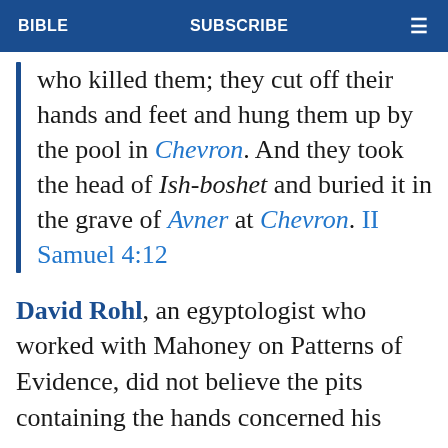BIBLE   SUBSCRIBE   ☰
who killed them; they cut off their hands and feet and hung them up by the pool in Chevron. And they took the head of Ish-boshet and buried it in the grave of Avner at Chevron. II Samuel 4:12
David Rohl, an egyptologist who worked with Mahoney on Patterns of Evidence, did not believe the pits containing the hands concerned his